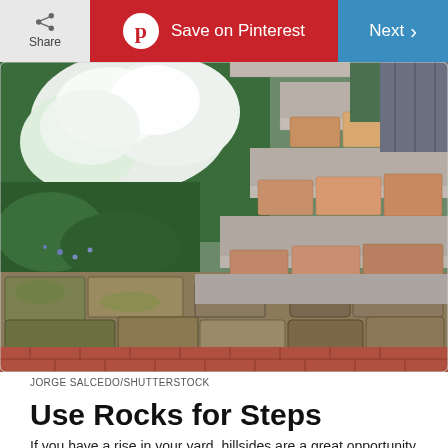Share | Save on Pinterest | Next
[Figure (photo): Stone retaining wall with large flat stone steps on the right side. White flowering bushes and green plants visible in the upper left. Red brick pathway at the bottom. Stones vary in size with moss/lichen growth.]
JORGE SALCEDO/SHUTTERSTOCK
Use Rocks for Steps
If you have a rise in your yard, hillsides are a great opportunity to